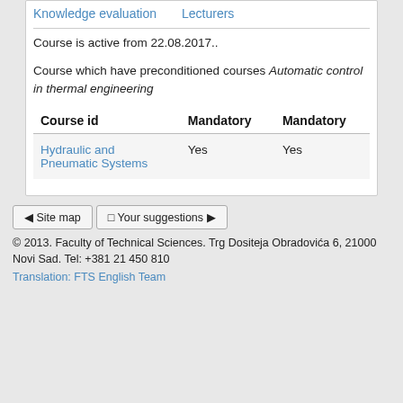Knowledge evaluation    Lecturers
Course is active from 22.08.2017..
Course which have preconditioned courses Automatic control in thermal engineering
| Course id | Mandatory | Mandatory |
| --- | --- | --- |
| Hydraulic and Pneumatic Systems | Yes | Yes |
◄ Site map    □ Your suggestions ►
© 2013. Faculty of Technical Sciences. Trg Dositeja Obradovića 6, 21000 Novi Sad. Tel: +381 21 450 810
Translation: FTS English Team